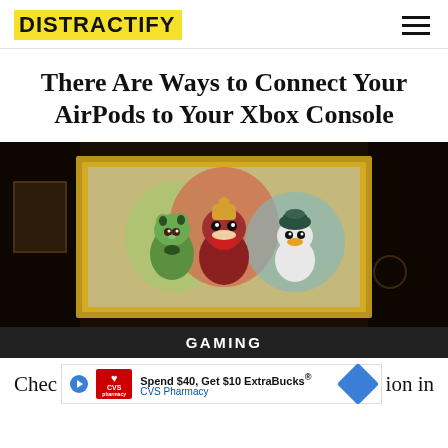DISTRACTIFY
There Are Ways to Connect Your AirPods to Your Xbox Console
[Figure (photo): A golden-framed painting displayed in a dark room showing three Pokémon characters: a green cat (Sprigatito), a brown dinosaur (Fuecoco), and a teal duck (Quaxly).]
GAMING
Spend $40, Get $10 ExtraBucks® CVS Pharmacy
Chec... ion in